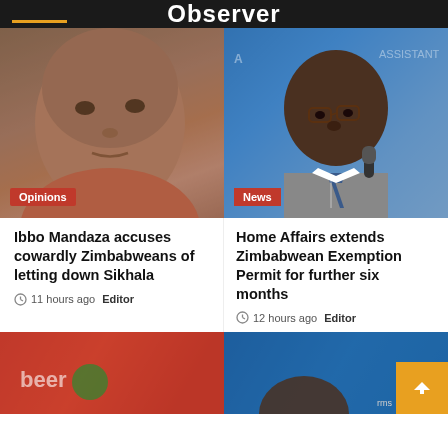Observer
[Figure (photo): Portrait of an older man, category badge: Opinions]
[Figure (photo): Portrait of a man in suit with microphone, category badge: News]
Ibbo Mandaza accuses cowardly Zimbabweans of letting down Sikhala
11 hours ago  Editor
Home Affairs extends Zimbabwean Exemption Permit for further six months
12 hours ago  Editor
[Figure (photo): Partial image at bottom left, red background]
[Figure (photo): Partial image at bottom right, blue background]